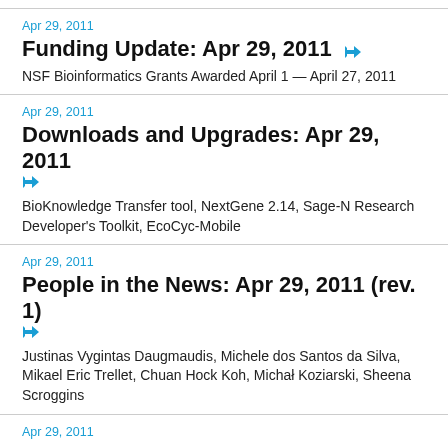Apr 29, 2011
Funding Update: Apr 29, 2011
NSF Bioinformatics Grants Awarded April 1 — April 27, 2011
Apr 29, 2011
Downloads and Upgrades: Apr 29, 2011
BioKnowledge Transfer tool, NextGene 2.14, Sage-N Research Developer's Toolkit, EcoCyc-Mobile
Apr 29, 2011
People in the News: Apr 29, 2011 (rev. 1)
Justinas Vygintas Daugmaudis, Michele dos Santos da Silva, Mikael Eric Trellet, Chuan Hock Koh, Michał Koziarski, Sheena Scroggins
Apr 29, 2011